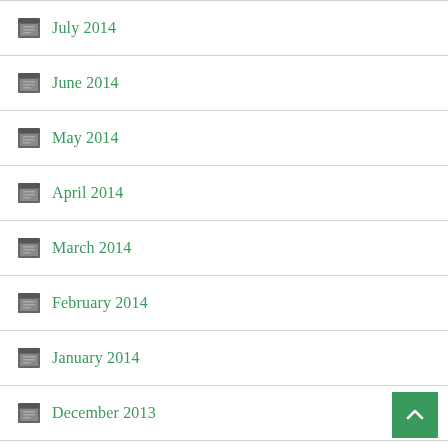July 2014
June 2014
May 2014
April 2014
March 2014
February 2014
January 2014
December 2013
November 2013
October 2013